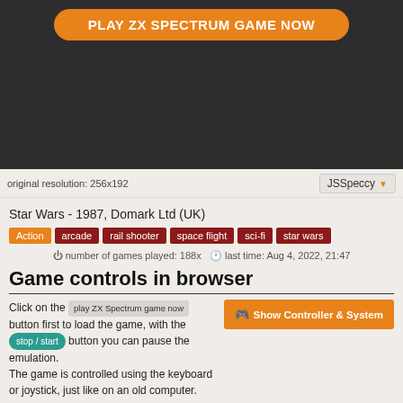[Figure (screenshot): Dark game screen with orange Play ZX Spectrum Game Now button at top]
original resolution: 256x192
JSSpeccy
Star Wars - 1987, Domark Ltd (UK)
Action arcade rail shooter space flight sci-fi star wars
number of games played: 188x  last time: Aug 4, 2022, 21:47
Game controls in browser
Click on the play ZX Spectrum game now button first to load the game, with the stop / start button you can pause the emulation. The game is controlled using the keyboard or joystick, just like on an old computer.
Show Controller & System